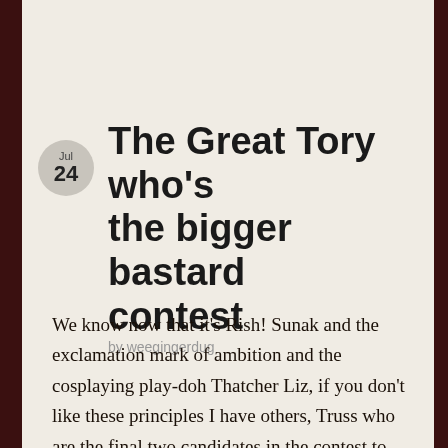The Great Tory who's the bigger bastard contest
by weegingerdug
We know now that it's Rish! Sunak and the exclamation mark of ambition and the cosplaying play-doh Thatcher Liz, if you don't like these principles I have others, Truss who are the final two candidates in the contest to become the next worst Conservative Prime Minister in living memory, although the word Conservative is probably superfluous in that sentence. The two are now trying to out-right wing bastard each other in